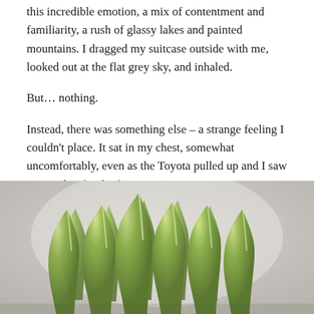this incredible emotion, a mix of contentment and familiarity, a rush of glassy lakes and painted mountains. I dragged my suitcase outside with me, looked out at the flat grey sky, and inhaled.
But… nothing.
Instead, there was something else – a strange feeling I couldn't place. It sat in my chest, somewhat uncomfortably, even as the Toyota pulled up and I saw my mother for the first time since summer.
[Figure (photo): Close-up photograph of green matcha-colored whipped cream or frosting piped into multiple star/swirl peaks arranged together, on a light grey/white background.]